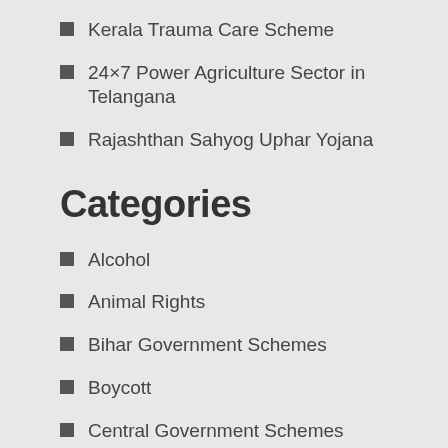Kerala Trauma Care Scheme
24×7 Power Agriculture Sector in Telangana
Rajashthan Sahyog Uphar Yojana
Categories
Alcohol
Animal Rights
Bihar Government Schemes
Boycott
Central Government Schemes
Coronavirus
Delhi
Development
Education
Farmer